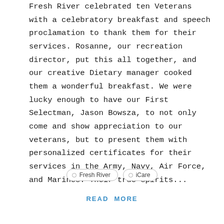Fresh River celebrated ten Veterans with a celebratory breakfast and speech proclamation to thank them for their services. Rosanne, our recreation director, put this all together, and our creative Dietary manager cooked them a wonderful breakfast. We were lucky enough to have our First Selectman, Jason Bowsza, to not only come and show appreciation to our veterans, but to present them with personalized certificates for their services in the Army, Navy, Air Force, and Marines. Their true spirits...
Fresh River   iCare
READ MORE